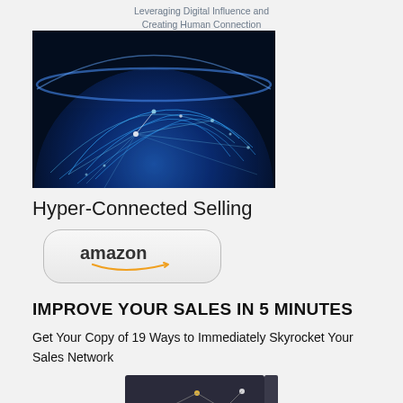Leveraging Digital Influence and Creating Human Connection
[Figure (photo): Dark blue globe/earth network visualization showing glowing blue light connections over a globe surface]
Hyper-Connected Selling
[Figure (logo): Amazon button with smile logo]
IMPROVE YOUR SALES IN 5 MINUTES
Get Your Copy of 19 Ways to Immediately Skyrocket Your Sales Network
[Figure (photo): Partial view of a dark book cover with network/chart graphics]